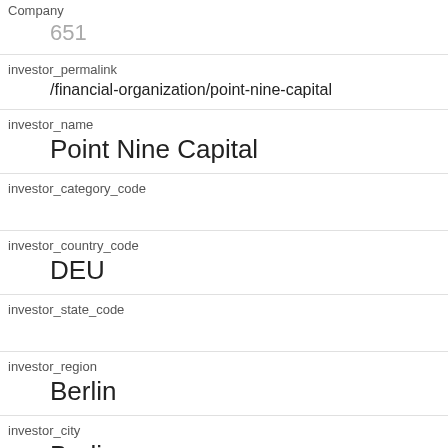Company
651
investor_permalink
/financial-organization/point-nine-capital
investor_name
Point Nine Capital
investor_category_code
investor_country_code
DEU
investor_state_code
investor_region
Berlin
investor_city
Berlin
funding_round_type
series-a
funded_at
1370304000
funded_year